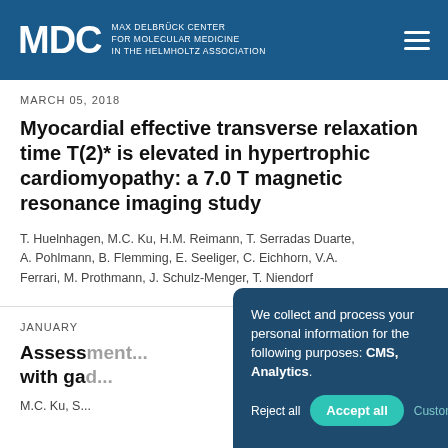MDC | MAX DELBRÜCK CENTER FOR MOLECULAR MEDICINE IN THE HELMHOLTZ ASSOCIATION
MARCH 05, 2018
Myocardial effective transverse relaxation time T(2)* is elevated in hypertrophic cardiomyopathy: a 7.0 T magnetic resonance imaging study
T. Huelnhagen, M.C. Ku, H.M. Reimann, T. Serradas Duarte, A. Pohlmann, B. Flemming, E. Seeliger, C. Eichhorn, V.A. Ferrari, M. Prothmann, J. Schulz-Menger, T. Niendorf
JANUARY
Assess... with ga...
M.C. Ku, S...
We collect and process your personal information for the following purposes: CMS, Analytics.
Reject all | Accept all | Customize...